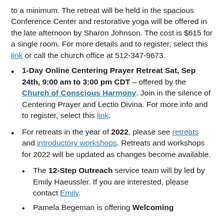to a minimum. The retreat will be held in the spacious Conference Center and restorative yoga will be offered in the late afternoon by Sharon Johnson. The cost is $615 for a single room. For more details and to register, select this link or call the church office at 512-347-9673.
1-Day Online Centering Prayer Retreat Sat, Sep 24th, 9:00 am to 3:00 pm CDT – offered by the Church of Conscious Harmony. Join in the silence of Centering Prayer and Lectio Divina. For more info and to register, select this link.
For retreats in the year of 2022, please see retreats and introductory workshops. Retreats and workshops for 2022 will be updated as changes become available.
The 12-Step Outreach service team will by led by Emily Haeussler. If you are interested, please contact Emily.
Pamela Begeman is offering Welcoming